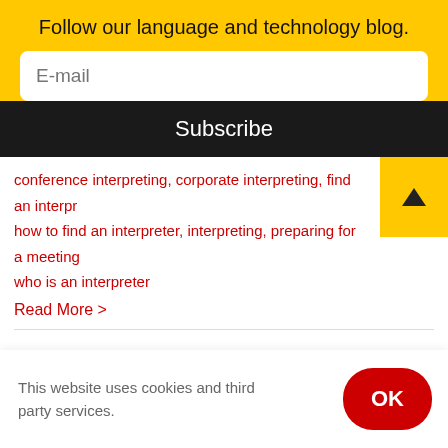Follow our language and technology blog.
E-mail
Subscribe
conference interpreting, corporate interpreting, find an interpreter, how to find an interpreter, interpreting, preparing for a meeting, who is an interpreter
Read More >
This website uses cookies and third party services.
OK